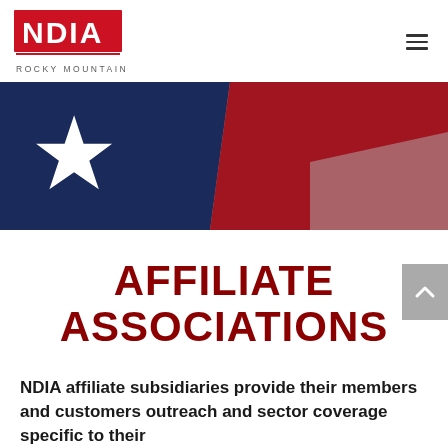NDIA Rocky Mountain
[Figure (photo): American flag close-up showing navy blue field with white star and red and white stripes, diagonal composition]
AFFILIATE ASSOCIATIONS
NDIA affiliate subsidiaries provide their members and customers outreach and sector coverage specific to their